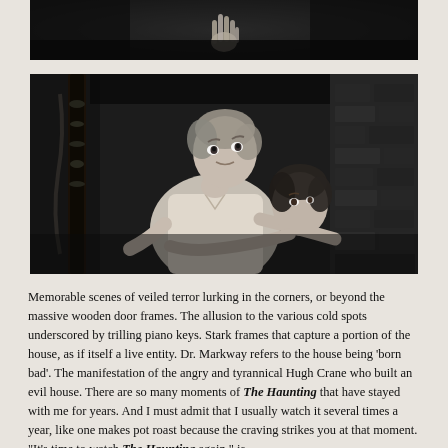[Figure (photo): Black and white film still showing a hand reaching down from darkness above, partial view of a figure below]
[Figure (photo): Black and white film still from The Haunting showing two women huddled together in fear, one with short blonde hair looking up in terror, the other clinging to her from behind]
Memorable scenes of veiled terror lurking in the corners, or beyond the massive wooden door frames. The allusion to the various cold spots underscored by trilling piano keys. Stark frames that capture a portion of the house, as if itself a live entity. Dr. Markway refers to the house being 'born bad'. The manifestation of the angry and tyrannical Hugh Crane who built an evil house. There are so many moments of The Haunting that have stayed with me for years. And I must admit that I usually watch it several times a year, like one makes pot roast because the craving strikes you at that moment. "It's time to watch The Haunting again," is